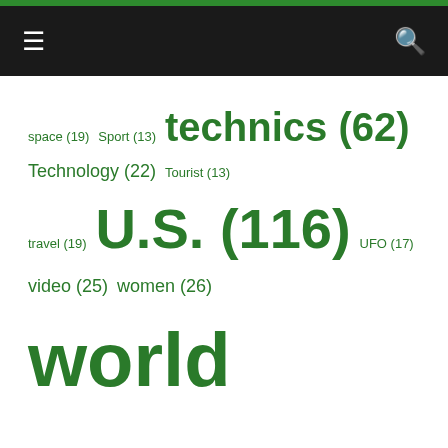Navigation bar with hamburger menu and search icon
space (19) Sport (13) technics (62) Technology (22) Tourist (13) travel (19) U.S. (116) UFO (17) video (25) women (26) world (145)
[Figure (other): Grey brick-pattern background area]
We are using cookies to give you the best experience on our website.
You can find out more about which cookies we are using or switch them off in settings.
Accept  Reject  Settings